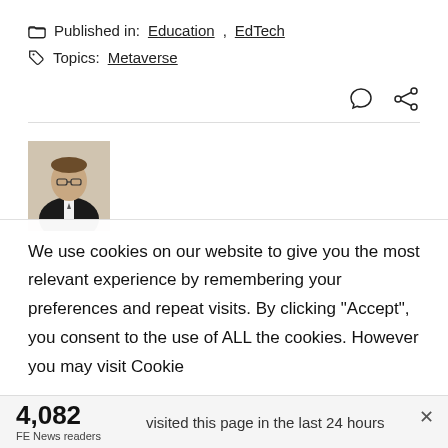Published in: Education, EdTech
Topics: Metaverse
[Figure (photo): Author headshot photo of a man wearing glasses and suit]
We use cookies on our website to give you the most relevant experience by remembering your preferences and repeat visits. By clicking “Accept”, you consent to the use of ALL the cookies. However you may visit Cookie
4,082
FE News readers
visited this page in the last 24 hours